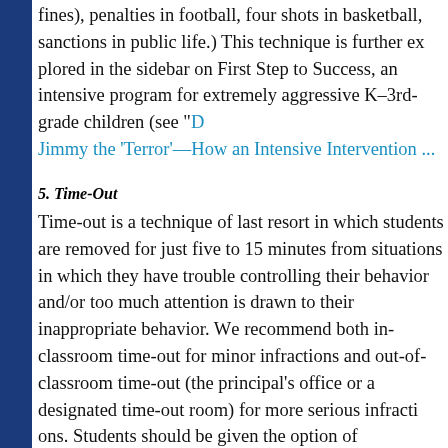fines), penalties in football, four shots in basketball, sanctions in public life.) This technique is further explored in the sidebar on First Step to Success, an intensive program for extremely aggressive K–3rd-grade children (see "Dear Teacher: Jimmy the 'Terror'—How an Intensive Intervention...
5. Time-Out
Time-out is a technique of last resort in which students are removed for just five to 15 minutes from situations in which they have trouble controlling their behavior and/or too much attention is drawn to their inappropriate behavior. We recommend both in-classroom time-out for minor infractions and out-of-classroom time-out (the principal's office or a designated time-out room) for more serious infractions. Students should be given the option of volunteering for short periods of time-out when they temporarily cannot c...